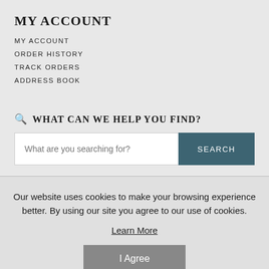MY ACCOUNT
MY ACCOUNT
ORDER HISTORY
TRACK ORDERS
ADDRESS BOOK
WHAT CAN WE HELP YOU FIND?
Our website uses cookies to make your browsing experience better. By using our site you agree to our use of cookies.
Learn More
I Agree